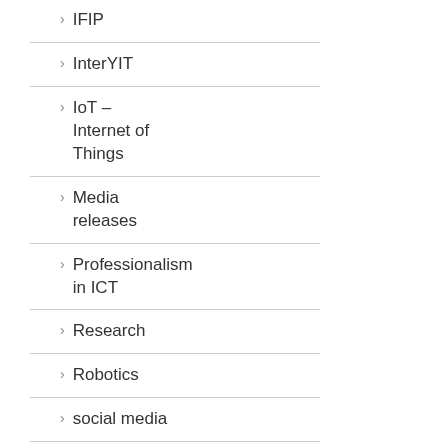IFIP
InterYIT
IoT – Internet of Things
Media releases
Professionalism in ICT
Research
Robotics
social media
WCC